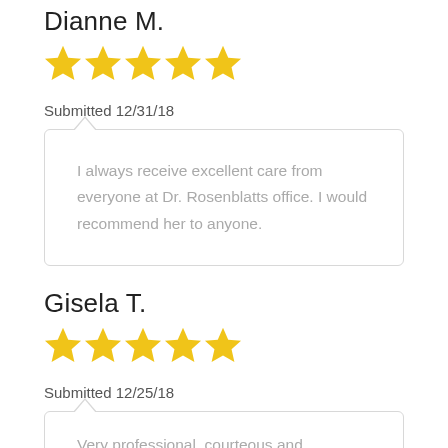Dianne M.
[Figure (illustration): 5 yellow stars rating]
Submitted 12/31/18
I always receive excellent care from everyone at Dr. Rosenblatts office. I would recommend her to anyone.
Gisela T.
[Figure (illustration): 5 yellow stars rating]
Submitted 12/25/18
Very professional, courteous and